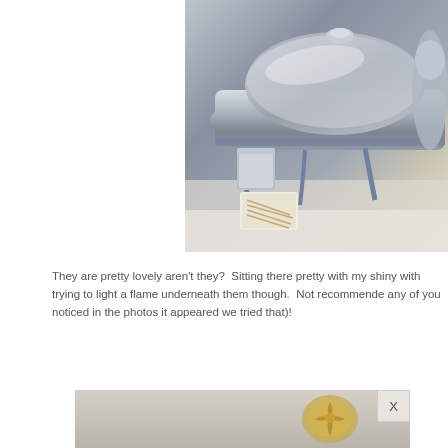[Figure (photo): Close-up photo of ornate silver serving dishes/platters on legs, with a tin can and a small white box of matches visible underneath, on a white surface.]
They are pretty lovely aren't they?  Sitting there pretty with my shiny with trying to light a flame underneath them though.  Not recommende any of you noticed in the photos it appeared we tried that)!
[Figure (photo): Partial photo showing a decorative surface with an ornate gold/gilt ornament or emblem visible, with a white close button overlay in the corner.]